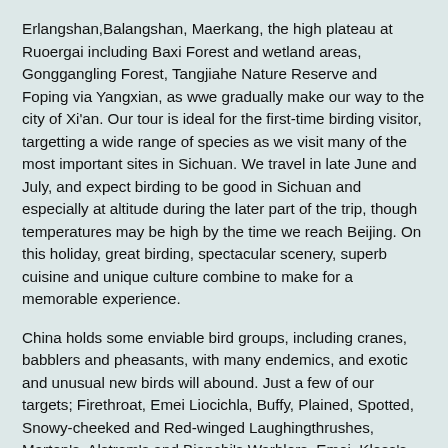Erlangshan,Balangshan, Maerkang, the high plateau at Ruoergai including Baxi Forest and wetland areas, Gonggangling Forest, Tangjiahe Nature Reserve and Foping via Yangxian, as wwe gradually make our way to the city of Xi'an. Our tour is ideal for the first-time birding visitor, targetting a wide range of species as we visit many of the most important sites in Sichuan. We travel in late June and July, and expect birding to be good in Sichuan and especially at altitude during the later part of the trip, though temperatures may be high by the time we reach Beijing. On this holiday, great birding, spectacular scenery, superb cuisine and unique culture combine to make for a memorable experience.
China holds some enviable bird groups, including cranes, babblers and pheasants, with many endemics, and exotic and unusual new birds will abound. Just a few of our targets; Firethroat, Emei Liocichla, Buffy, Plained, Spotted, Snowy-cheeked and Red-winged Laughingthrushes, Marten's, Alstrom's and Bianchi's Warblers, Emei, Kloss's and Claudia's